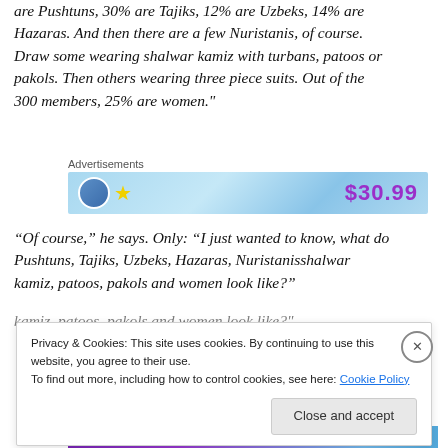are Pushtuns, 30% are Tajiks, 12% are Uzbeks, 14% are Hazaras. And then there are a few Nuristanis, of course. Draw some wearing shalwar kamiz with turbans, patoos or pakols. Then others wearing three piece suits. Out of the 300 members, 25% are women."
[Figure (other): Advertisement banner with blue gradient background, a circle icon, star icon on left, and price '$30.99' in purple on right]
“Of course,” he says. Only: “I just wanted to know, what do Pushtuns, Tajiks, Uzbeks, Hazaras, Nuristanisshalwar kamiz, patoos, pakols and women look like?"
Privacy & Cookies: This site uses cookies. By continuing to use this website, you agree to their use. To find out more, including how to control cookies, see here: Cookie Policy